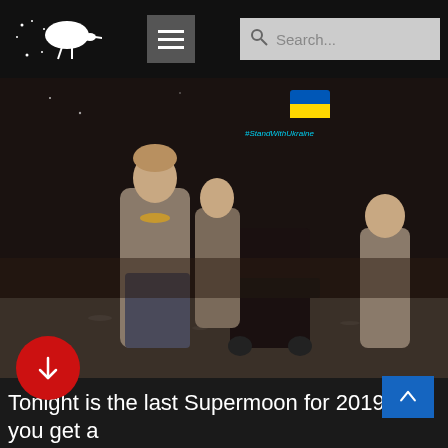[Figure (screenshot): Website header with Milky-Way.Kiwi logo (white kiwi bird illustration with stars), hamburger menu button, and search bar]
[Figure (photo): Night-time outdoor photo showing people looking up at the sky near a telescope on a gravel surface. A Ukrainian flag emoji and #StandWithUkraine text overlay visible in upper right area.]
[Figure (other): Red circular scroll-down arrow button]
[Figure (other): Blue rectangular scroll-up arrow button]
Tonight is the last Supermoon for 2019 so if you get a